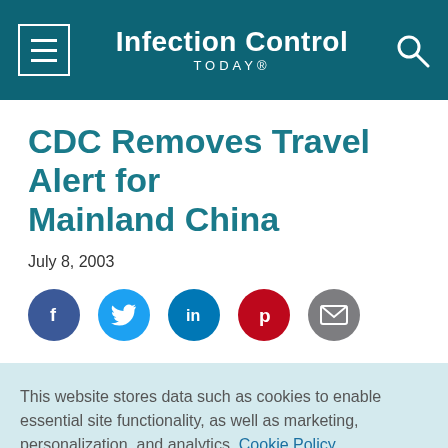Infection Control TODAY®
CDC Removes Travel Alert for Mainland China
July 8, 2003
[Figure (other): Social sharing icons: Facebook, Twitter, LinkedIn, Pinterest, Email]
This website stores data such as cookies to enable essential site functionality, as well as marketing, personalization, and analytics. Cookie Policy
Accept
Deny